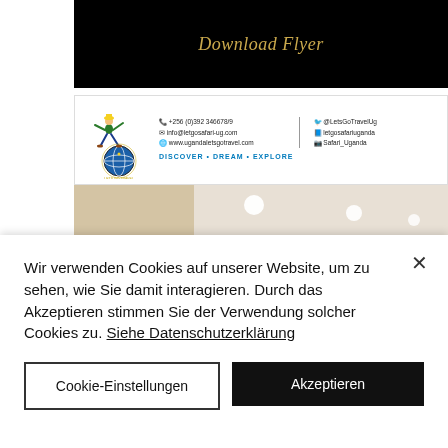Download Flyer
[Figure (logo): Lets Go Travel agency logo and contact card with logo of person jumping over globe, phone/email/website contacts, and DISCOVER • DREAM • EXPLORE tagline]
[Figure (photo): Nihal Hotel Dubai Special Package promotional image showing hotel lobby interior with red banner reading NIHAL HOTEL and yellow banner reading DUBAI SPECIAL PACKAGE]
Wir verwenden Cookies auf unserer Website, um zu sehen, wie Sie damit interagieren. Durch das Akzeptieren stimmen Sie der Verwendung solcher Cookies zu. Siehe Datenschutzerklärung
Cookie-Einstellungen
Akzeptieren